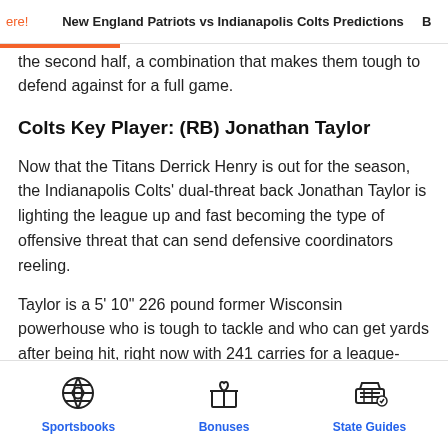ere! | New England Patriots vs Indianapolis Colts Predictions | B
the second half, a combination that makes them tough to defend against for a full game.
Colts Key Player: (RB) Jonathan Taylor
Now that the Titans Derrick Henry is out for the season, the Indianapolis Colts' dual-threat back Jonathan Taylor is lighting the league up and fast becoming the type of offensive threat that can send defensive coordinators reeling.
Taylor is a 5' 10" 226 pound former Wisconsin powerhouse who is tough to tackle and who can get yards after being hit, right now with 241 carries for a league-leading 1,348 yards and 16 touchdowns plus 26 catches for 226 yards
Sportsbooks | Bonuses | State Guides